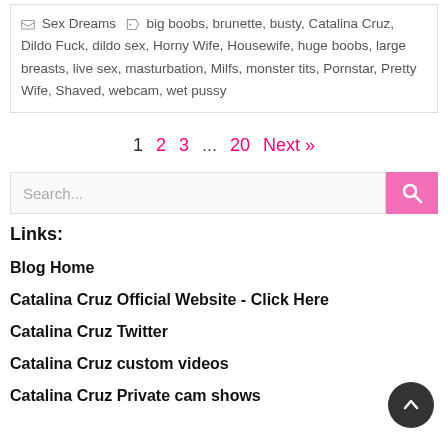Sex Dreams  big boobs, brunette, busty, Catalina Cruz, Dildo Fuck, dildo sex, Horny Wife, Housewife, huge boobs, large breasts, live sex, masturbation, Milfs, monster tits, Pornstar, Pretty Wife, Shaved, webcam, wet pussy
1  2  3  ...  20  Next »
Search...
Links:
Blog Home
Catalina Cruz Official Website - Click Here
Catalina Cruz Twitter
Catalina Cruz custom videos
Catalina Cruz Private cam shows